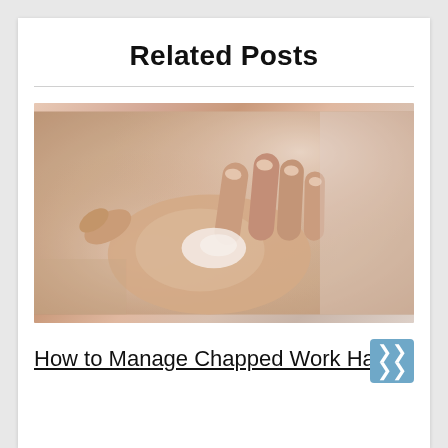Related Posts
[Figure (photo): Close-up photo of hands applying lotion or cream, with fingers visible and white cream on palm]
How to Manage Chapped Work Hands